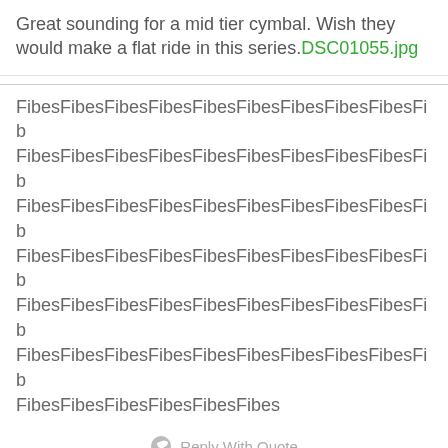Great sounding for a mid tier cymbal. Wish they would make a flat ride in this series.DSC01055.jpg
FibesFibesFibesFibesFibesFibesFibesFibesFibesFibesFibesFibesFibesFibesFibesFibesFibesFibesFibesFibesFibesFibesFibesFibesFibesFibesFibesFibesFibesFibesFibesFibesFibesFibesFibesFibesFibesFibesFibesFibesFibesFibesFibesFibesFibesFibesFibesFibesFibesFibesFibesFibesFibesFibesFibesFibesFibesFibesFibesFibesFibesFibesFibesFibesFibesFibesFibesFibesFibesFibesFibesFibesFibesFibesFibesFibesFibesFibesFibesFibesFibesFibesFibes
Reply With Quote
03-29-2022, 01:05 PM #970